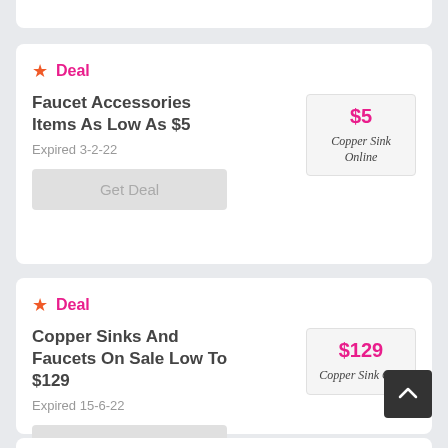Deal — Faucet Accessories Items As Low As $5 — Expired 3-2-22
Get Deal
Deal — Copper Sinks And Faucets On Sale Low To $129 — Expired 15-6-22
Get Deal